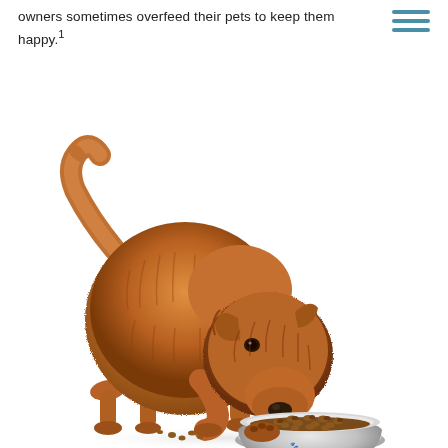owners sometimes overfeed their pets to keep them happy.¹
[Figure (photo): A small scruffy tan/golden terrier dog leaning down to eat from a stainless steel bowl filled with dry kibble, photographed against a white background.]